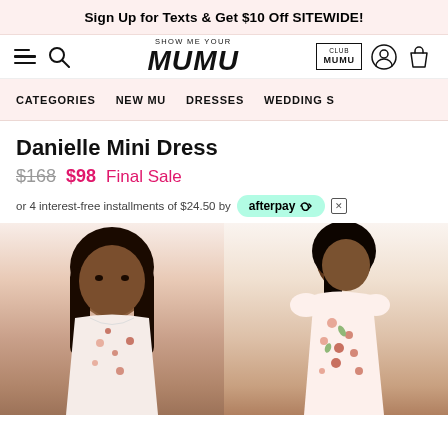Sign Up for Texts & Get $10 Off SITEWIDE!
[Figure (screenshot): Show Me Your MUMU website navigation bar with hamburger menu, search icon, MUMU logo, Club MUMU, user account icon, and shopping bag icon]
CATEGORIES   NEW MU   DRESSES   WEDDINGS
Danielle Mini Dress
$168 $98 Final Sale
or 4 interest-free installments of $24.50 by afterpay
[Figure (photo): Two photos of models wearing the Danielle Mini Dress in a white floral print pattern. Left photo shows a Black woman with long dark hair. Right photo shows another model wearing the same dress from the side/back.]